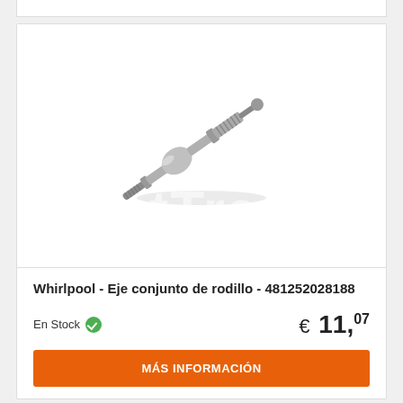[Figure (photo): Metal roller axle/shaft assembly part for Whirlpool appliance, cylindrical with threaded ends, shown diagonally. NetTrade watermark overlaid.]
Whirlpool - Eje conjunto de rodillo - 481252028188
En Stock
€ 11,07
MÁS INFORMACIÓN